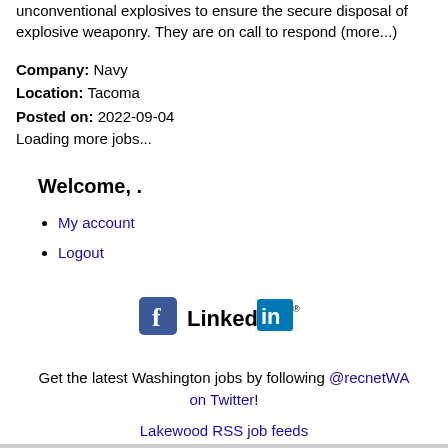unconventional explosives to ensure the secure disposal of explosive weaponry. They are on call to respond (more...)
Company: Navy
Location: Tacoma
Posted on: 2022-09-04
Loading more jobs...
Welcome, .
My account
Logout
[Figure (logo): Facebook and LinkedIn social media icons]
Get the latest Washington jobs by following @recnetWA on Twitter!
Lakewood RSS job feeds